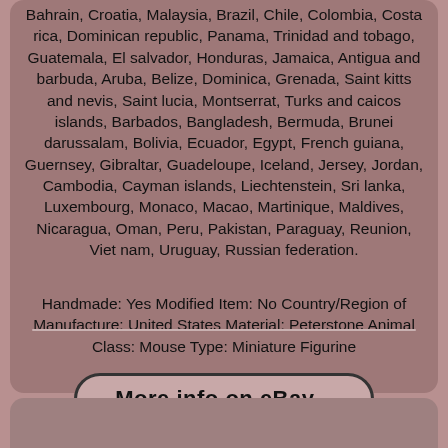Bahrain, Croatia, Malaysia, Brazil, Chile, Colombia, Costa rica, Dominican republic, Panama, Trinidad and tobago, Guatemala, El salvador, Honduras, Jamaica, Antigua and barbuda, Aruba, Belize, Dominica, Grenada, Saint kitts and nevis, Saint lucia, Montserrat, Turks and caicos islands, Barbados, Bangladesh, Bermuda, Brunei darussalam, Bolivia, Ecuador, Egypt, French guiana, Guernsey, Gibraltar, Guadeloupe, Iceland, Jersey, Jordan, Cambodia, Cayman islands, Liechtenstein, Sri lanka, Luxembourg, Monaco, Macao, Martinique, Maldives, Nicaragua, Oman, Peru, Pakistan, Paraguay, Reunion, Viet nam, Uruguay, Russian federation.
Handmade: Yes Modified Item: No Country/Region of Manufacture: United States Material: Peterstone Animal Class: Mouse Type: Miniature Figurine
[Figure (other): Button linking to more info on eBay with text 'More info on eBay...']
[Figure (other): Social sharing icons: Facebook (blue), Twitter (light blue), Pinterest (red), Email (teal)]